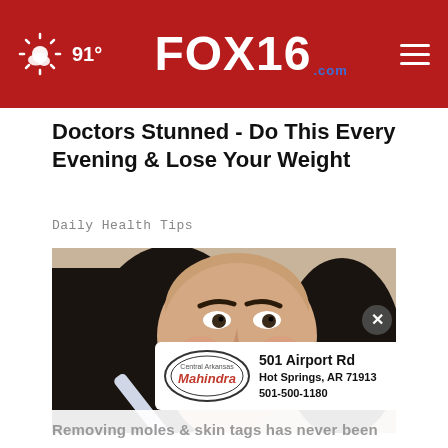FOX16.com  91°
Doctors Stunned - Do This Every Evening & Lose Your Weight
Daily Health Tips
[Figure (photo): Close-up photo of a woman applying a white substance to her nose with a toothbrush]
Central Arkansas Mahindra  501 Airport Rd Hot Springs, AR 71913 501-500-1180
Removing moles & skin tags has never been